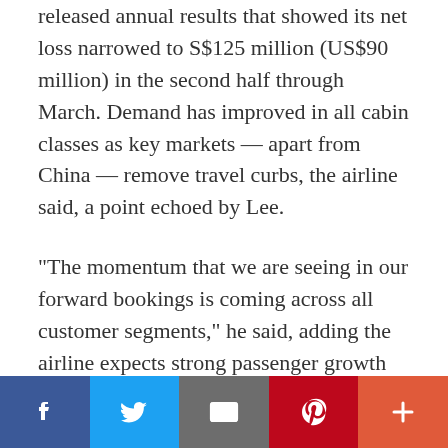released annual results that showed its net loss narrowed to S$125 million (US$90 million) in the second half through March. Demand has improved in all cabin classes as key markets — apart from China — remove travel curbs, the airline said, a point echoed by Lee.
"The momentum that we are seeing in our forward bookings is coming across all customer segments," he said, adding the airline expects strong passenger growth this year.
The carrier said inflation, particularly fuel prices, remains a concern. That weighed on its shares The shares are in about the cli...
[Figure (other): Social sharing bar with buttons for Facebook, Twitter, Email, Pinterest, and More (+)]